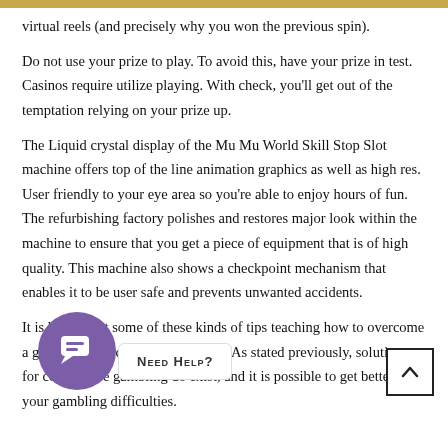virtual reels (and precisely why you won the previous spin).
Do not use your prize to play. To avoid this, have your prize in test. Casinos require utilize playing. With check, you’ll get out of the temptation relying on your prize up.
The Liquid crystal display of the Mu Mu World Skill Stop Slot machine offers top of the line animation graphics as well as high res. User friendly to your eye area so you’re able to enjoy hours of fun. The refurbishing factory polishes and restores major look within the machine to ensure that you get a piece of equipment that is of high quality. This machine also shows a checkpoint mechanism that enables it to be user safe and prevents unwanted accidents.
It is hoped that some of these kinds of tips teaching how to overcome a gambling addiction will help you. As stated previously, solutions for compulsive gambling do exist, and it is possible to get better from your gambling difficulties.
[Figure (other): Purple circular chat widget icon with speech bubble icon inside]
NEED HELP?
[Figure (other): Back to top button with upward caret arrow inside a bordered square]